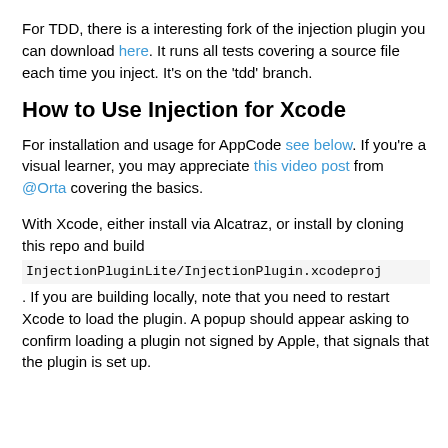For TDD, there is a interesting fork of the injection plugin you can download here. It runs all tests covering a source file each time you inject. It's on the 'tdd' branch.
How to Use Injection for Xcode
For installation and usage for AppCode see below. If you're a visual learner, you may appreciate this video post from @Orta covering the basics.
With Xcode, either install via Alcatraz, or install by cloning this repo and build InjectionPluginLite/InjectionPlugin.xcodeproj . If you are building locally, note that you need to restart Xcode to load the plugin. A popup should appear asking to confirm loading a plugin not signed by Apple, that signals that the plugin is set up.